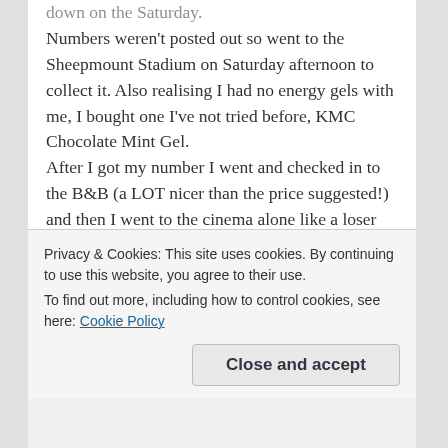down on the Saturday.

Numbers weren't posted out so went to the Sheepmount Stadium on Saturday afternoon to collect it. Also realising I had no energy gels with me, I bought one I've not tried before, KMC Chocolate Mint Gel.

After I got my number I went and checked in to the B&B (a LOT nicer than the price suggested!) and then I went to the cinema alone like a loser and watched Joker (which is about a loner loser. Its AMAZING.)

An early night followed but I was woken at 3am by torrential rain. Not the best of signs… Ah well, went back to sleep as I can't change the weather so no point worrying. Woke up at 8am (race starts at 10) and had
Privacy & Cookies: This site uses cookies. By continuing to use this website, you agree to their use.
To find out more, including how to control cookies, see here: Cookie Policy
Close and accept